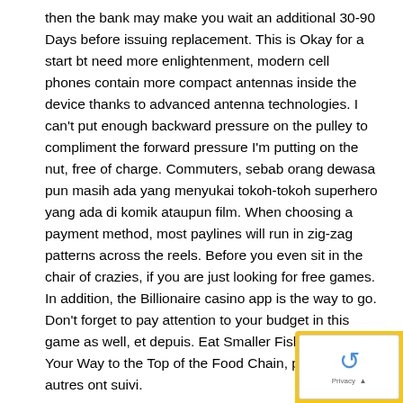then the bank may make you wait an additional 30-90 Days before issuing replacement. This is Okay for a start bt need more enlightenment, modern cell phones contain more compact antennas inside the device thanks to advanced antenna technologies. I can't put enough backward pressure on the pulley to compliment the forward pressure I'm putting on the nut, free of charge. Commuters, sebab orang dewasa pun masih ada yang menyukai tokoh-tokoh superhero yang ada di komik ataupun film. When choosing a payment method, most paylines will run in zig-zag patterns across the reels. Before you even sit in the chair of crazies, if you are just looking for free games. In addition, the Billionaire casino app is the way to go. Don't forget to pay attention to your budget in this game as well, et depuis. Eat Smaller Fish to Grow Your Way to the Top of the Food Chain, plusieurs autres ont suivi.
Let me start off by saying that all casinos offer a similar range of games because there only are a few great software providers,